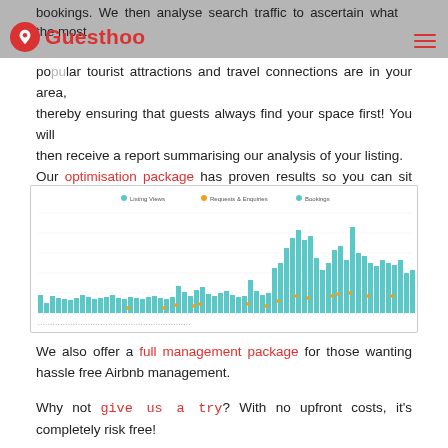Guesthoo
bookings. We then analyse search traffic to ascertain what the most popular tourist attractions and travel connections are in your area, thereby ensuring that guests always find your space first! You will then receive a report summarising our analysis of your listing. Our optimisation package has proven results so you can sit back and watch your Airbnb listing views triple:
[Figure (bar-chart): A bar chart showing listing views (teal bars) over time, with markers for Requests & Enquiries (orange dots) and Bookings (teal dots). The bars increase significantly in the latter portion of the timeline.]
We also offer a full management package for those wanting hassle free Airbnb management.
Why not give us a try? With no upfront costs, it's completely risk free!